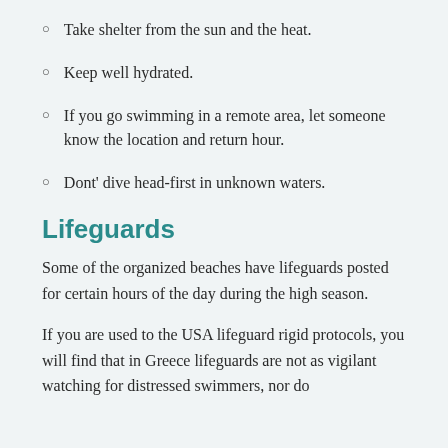Take shelter from the sun and the heat.
Keep well hydrated.
If you go swimming in a remote area, let someone know the location and return hour.
Dont' dive head-first in unknown waters.
Lifeguards
Some of the organized beaches have lifeguards posted for certain hours of the day during the high season.
If you are used to the USA lifeguard rigid protocols, you will find that in Greece lifeguards are not as vigilant watching for distressed swimmers, nor do